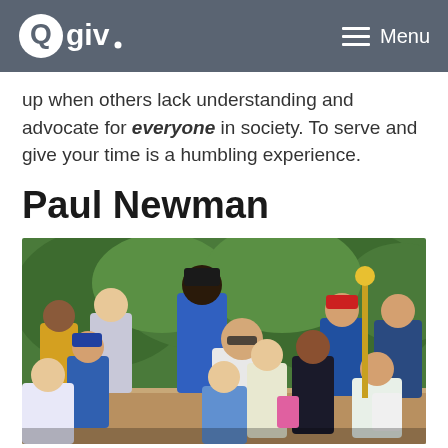Qgiv  Menu
up when others lack understanding and advocate for everyone in society. To serve and give your time is a humbling experience.
Paul Newman
[Figure (photo): Group photo of Paul Newman with a large group of children outdoors, with green trees in the background. Several children are eating or holding food items.]